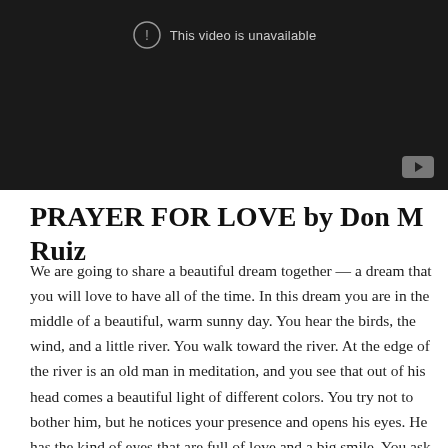[Figure (screenshot): Embedded video player showing 'This video is unavailable' message with a YouTube play button icon in the bottom right corner, on a dark background.]
PRAYER FOR LOVE by Don M Ruiz
We are going to share a beautiful dream together — a dream that you will love to have all of the time. In this dream you are in the middle of a beautiful, warm sunny day. You hear the birds, the wind, and a little river. You walk toward the river. At the edge of the river is an old man in meditation, and you see that out of his head comes a beautiful light of different colors. You try not to bother him, but he notices your presence and opens his eyes. He has the kind of eyes that are full of love and a big smile. You ask him how he is able to radiate all that beautiful light. You ask him if he can teach you to do what he is doing. He replies that many, many,